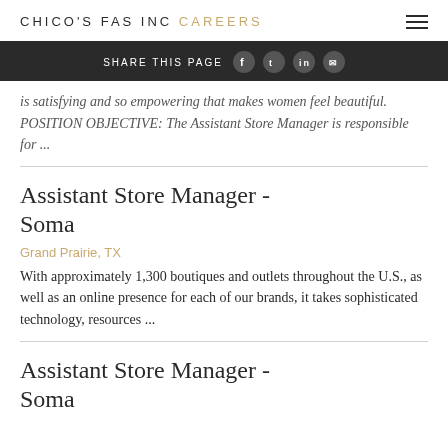CHICO'S FAS INC CAREERS
SHARE THIS PAGE
is satisfying and so empowering that makes women feel beautiful. POSITION OBJECTIVE: The Assistant Store Manager is responsible for ...
Assistant Store Manager - Soma
Grand Prairie, TX
With approximately 1,300 boutiques and outlets throughout the U.S., as well as an online presence for each of our brands, it takes sophisticated technology, resources ...
Assistant Store Manager - Soma